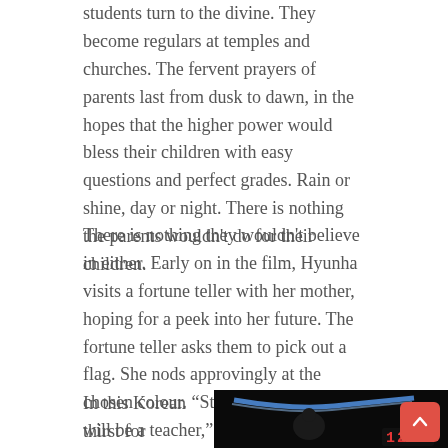students turn to the divine. They become regulars at temples and churches. The fervent prayers of parents last from dusk to dawn, in the hopes that the higher power would bless their children with easy questions and perfect grades. Rain or shine, day or night. There is nothing the parents wouldn't do for their children.
There is nothing they wouldn't believe in either. Early on in the film, Hyunha visits a fortune teller with her mother, hoping for a peek into her future. The fortune teller asks them to pick out a flag. She nods approvingly at the chosen colour. “Study hard, and you will be a teacher,” she tells Hyunha. “It is in your fortune.” Hyunha and her mother doesn’t question. With their path now a little brighter, they march on.
In this Korean thirst for
[Figure (photo): Dark photo of a person at what appears to be a stage or event with blue lighting, and a digital display showing '124' in red digits visible in the lower right corner.]